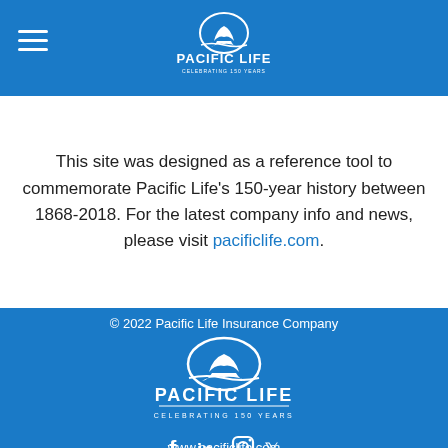Pacific Life — Celebrating 150 Years (header logo)
This site was designed as a reference tool to commemorate Pacific Life's 150-year history between 1868-2018. For the latest company info and news, please visit pacificlife.com.
© 2022 Pacific Life Insurance Company
[Figure (logo): Pacific Life logo with whale and 'CELEBRATING 150 YEARS' tagline, white on blue]
[Figure (logo): Social media icons: Facebook, LinkedIn, Instagram, Twitter — white on blue]
www.pacificlife.com